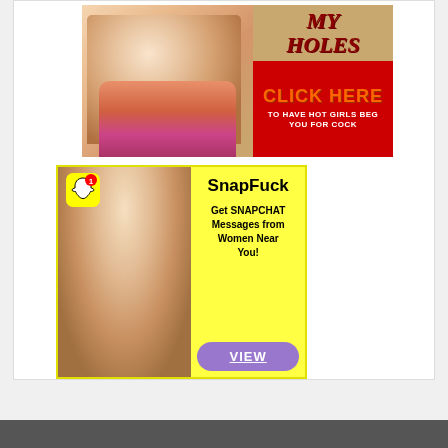[Figure (advertisement): Adult advertising banner with text 'MY HOLES', 'CLICK HERE', 'TO HAVE HOT GIRLS BEG YOU FOR COCK' on red background with a woman in bikini]
[Figure (advertisement): SnapFuck advertisement styled like Snapchat with Snapchat ghost icon, woman photo, text 'SnapFuck', 'Get SNAPCHAT Messages from Women Near You!', and a purple 'VIEW' button]